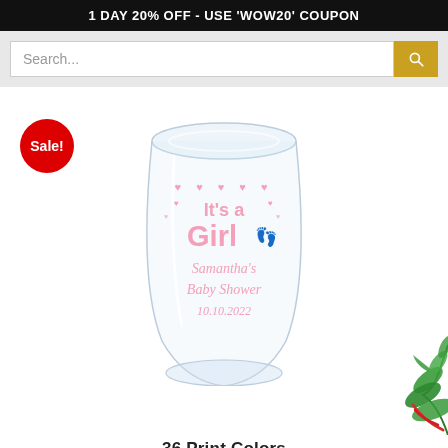1 DAY 20% OFF - USE 'WOW20' COUPON
Search...
[Figure (photo): Stemless wine glass with pink 'It's a Girl' baby shower print design reading 'Samantha's Baby Shower 10.10.2022' with heart and baby footprint decorations. A red Sale badge is in the top left corner. A partial green plant is visible in the bottom right corner.]
36 Print Colors